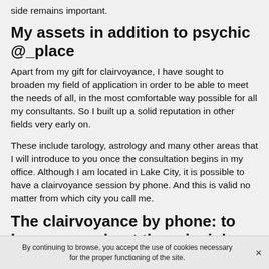side remains important.
My assets in addition to psychic @_place
Apart from my gift for clairvoyance, I have sought to broaden my field of application in order to be able to meet the needs of all, in the most comfortable way possible for all my consultants. So I built up a solid reputation in other fields very early on.
These include tarology, astrology and many other areas that I will introduce to you once the consultation begins in my office. Although I am located in Lake City, it is possible to have a clairvoyance session by phone. And this is valid no matter from which city you call me.
The clairvoyance by phone: to learn more about the principle
By continuing to browse, you accept the use of cookies necessary for the proper functioning of the site. ×